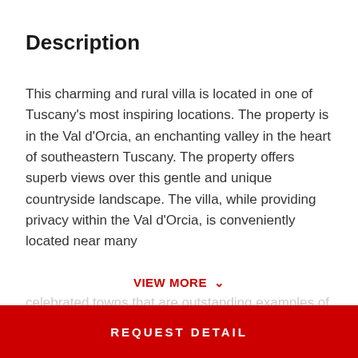Description
This charming and rural villa is located in one of Tuscany's most inspiring locations. The property is in the Val d'Orcia, an enchanting valley in the heart of southeastern Tuscany. The property offers superb views over this gentle and unique countryside landscape. The villa, while providing privacy within the Val d'Orcia, is conveniently located near many VIEW MORE ▾
Property Features
REQUEST DETAIL